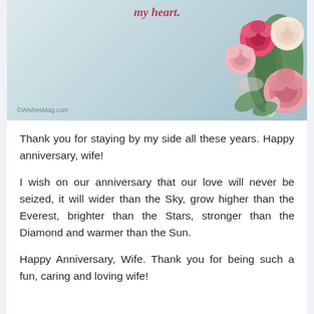[Figure (photo): Partial greeting card image showing pink and white roses bouquet on a light blue background with text 'my heart.' in pink cursive and watermark 'WishesMag.com']
Thank you for staying by my side all these years. Happy anniversary, wife!
I wish on our anniversary that our love will never be seized, it will wider than the Sky, grow higher than the Everest, brighter than the Stars, stronger than the Diamond and warmer than the Sun.
Happy Anniversary, Wife. Thank you for being such a fun, caring and loving wife!